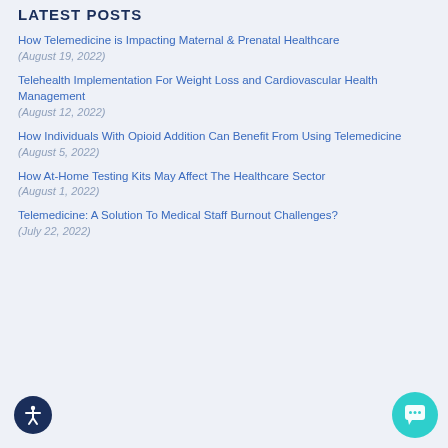LATEST POSTS
How Telemedicine is Impacting Maternal & Prenatal Healthcare
(August 19, 2022)
Telehealth Implementation For Weight Loss and Cardiovascular Health Management
(August 12, 2022)
How Individuals With Opioid Addition Can Benefit From Using Telemedicine
(August 5, 2022)
How At-Home Testing Kits May Affect The Healthcare Sector
(August 1, 2022)
Telemedicine: A Solution To Medical Staff Burnout Challenges?
(July 22, 2022)